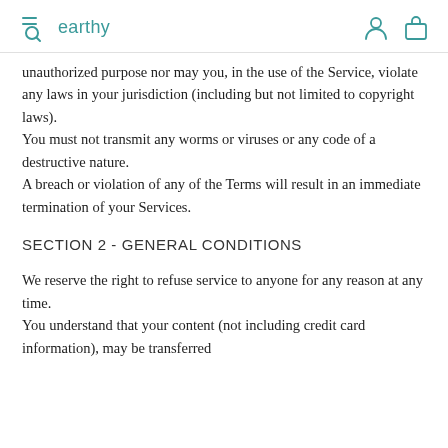earthy
unauthorized purpose nor may you, in the use of the Service, violate any laws in your jurisdiction (including but not limited to copyright laws).
You must not transmit any worms or viruses or any code of a destructive nature.
A breach or violation of any of the Terms will result in an immediate termination of your Services.
SECTION 2 - GENERAL CONDITIONS
We reserve the right to refuse service to anyone for any reason at any time.
You understand that your content (not including credit card information), may be transferred